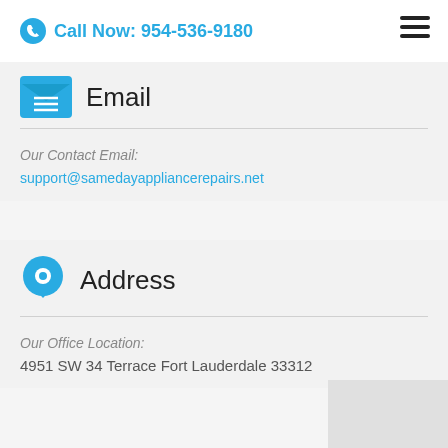Call Now: 954-536-9180
Email
Our Contact Email:
support@samedayappliancerepairs.net
Address
Our Office Location:
4951 SW 34 Terrace Fort Lauderdale 33312